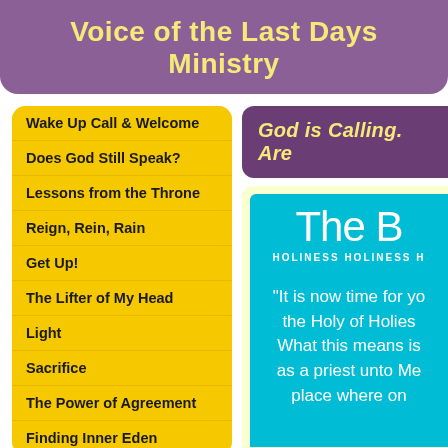Voice of the Last Days Ministry
Wake Up Call & Welcome
Does God Still Speak?
Lessons from the Throne
Reign, Rein, Rain
Get Up!
The Lifter of My Head
Light
Sacrifice
The Power of Agreement
Finding Inner Eden
God is Calling. Are
[Figure (other): Cyan book panel showing 'The B' title, 'HOLINESS HOLINESS H' subtitle, and quote text: 'It is now time for yo... the Holy of Holies... What this means is ... as a priest unto Me ... place where on']